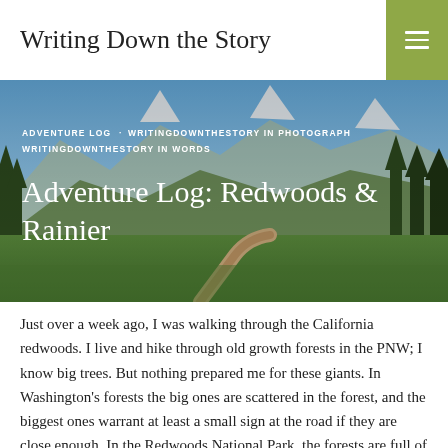Writing Down the Story
[Figure (photo): Panoramic mountain landscape with a trail through green meadows, snow-capped peaks, and conifer trees. Text overlaid includes category tags and article title 'Adventure Log: Redwoods & Rainier'.]
Just over a week ago, I was walking through the California redwoods. I live and hike through old growth forests in the PNW; I know big trees. But nothing prepared me for these giants. In Washington's forests the big ones are scattered in the forest, and the biggest ones warrant at least a small sign at the road if they are close enough. In the Redwoods National Park, the forests are full of unsigned monoliths so awesomely huge in girth and height I can't take a deep